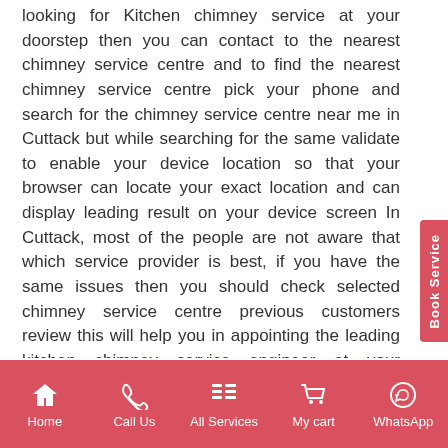looking for Kitchen chimney service at your doorstep then you can contact to the nearest chimney service centre and to find the nearest chimney service centre pick your phone and search for the chimney service centre near me in Cuttack but while searching for the same validate to enable your device location so that your browser can locate your exact location and can display leading result on your device screen In Cuttack, most of the people are not aware that which service provider is best, if you have the same issues then you should check selected chimney service centre previous customers review this will help you in appointing the leading kitchen chimney service engineer at your doorstep at the leading and modest price
Kitchen chimney is an advance technology-based
Home | Call Us | All Services | My cart | WhatsApp